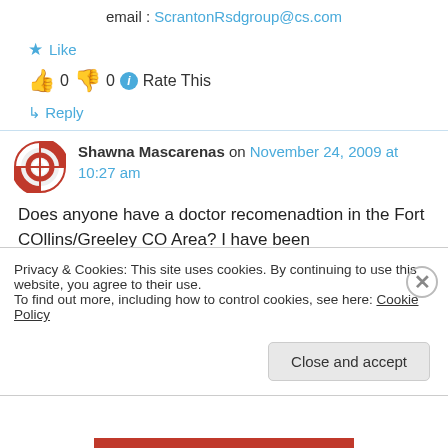email : ScrantonRsdgroup@cs.com
★ Like
👍 0 👎 0 ℹ Rate This
↳ Reply
Shawna Mascarenas on November 24, 2009 at 10:27 am
Does anyone have a doctor recomenadtion in the Fort COllins/Greeley CO Area? I have been
Privacy & Cookies: This site uses cookies. By continuing to use this website, you agree to their use.
To find out more, including how to control cookies, see here: Cookie Policy
Close and accept